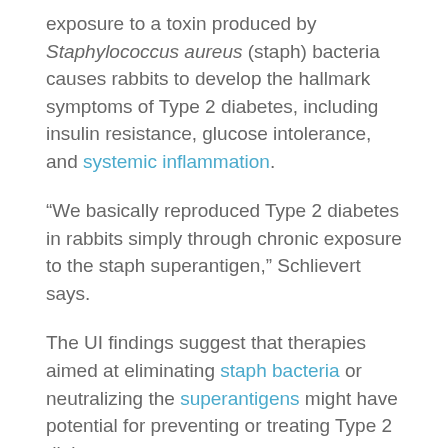exposure to a toxin produced by Staphylococcus aureus (staph) bacteria causes rabbits to develop the hallmark symptoms of Type 2 diabetes, including insulin resistance, glucose intolerance, and systemic inflammation.
“We basically reproduced Type 2 diabetes in rabbits simply through chronic exposure to the staph superantigen,” Schlievert says.
The UI findings suggest that therapies aimed at eliminating staph bacteria or neutralizing the superantigens might have potential for preventing or treating Type 2 diabetes.
Obesity is a known risk factors for developing Type 2 diabetes, but obesity also alters a person’s microbiome – the ecosystem of bacteria that